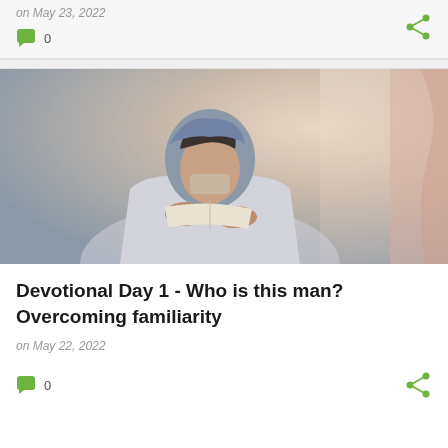on May 23, 2022
0
[Figure (photo): A person wearing a head covering and face mask, reading or studying what appears to be a book or scripture, with soft light in the background.]
Devotional Day 1 - Who is this man? Overcoming familiarity
on May 22, 2022
0